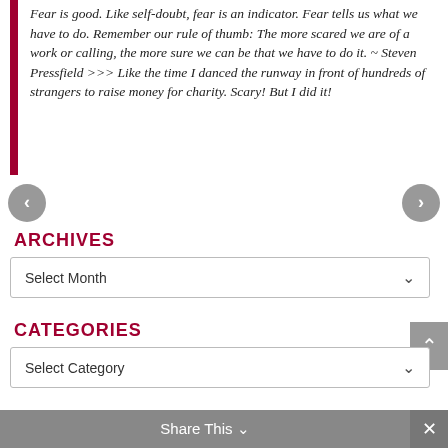Fear is good. Like self-doubt, fear is an indicator. Fear tells us what we have to do. Remember our rule of thumb: The more scared we are of a work or calling, the more sure we can be that we have to do it. ~ Steven Pressfield >>> Like the time I danced the runway in front of hundreds of strangers to raise money for charity. Scary! But I did it!
ARCHIVES
Select Month
CATEGORIES
Select Category
TAGS
Assessments   Assumptions   Awareness
Share This